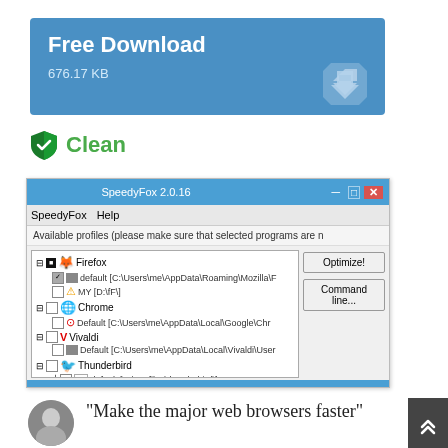[Figure (infographic): Free Download banner with blue background showing title 'Free Download' and file size '676.17 KB' with a download arrow icon]
Clean
[Figure (screenshot): Screenshot of SpeedyFox 2.0.16 application window showing browser profiles list including Firefox, Chrome, Vivaldi, and Thunderbird with Optimize! and Command line... buttons]
"Make the major web browsers faster"